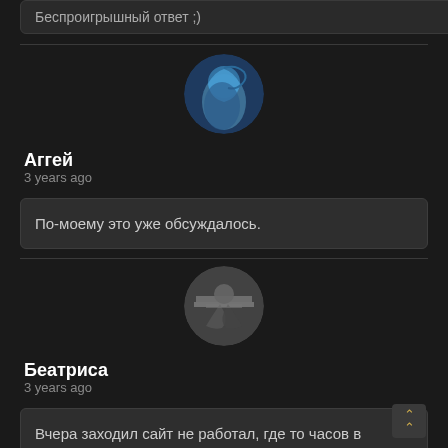Беспроигрышный ответ ;)
[Figure (photo): Round avatar of Аггей — silhouette of a person raising arm against a blue/teal background]
Аггей
3 years ago
По-моему это уже обсуждалось.
[Figure (photo): Round avatar of Беатриса — black and white silhouette of a person sitting/crouching]
Беатриса
3 years ago
Вчера заходил сайт не работал, где то часов в 12 дня, из за чего?